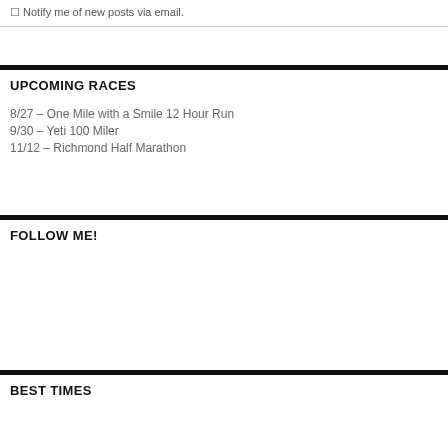Notify me of new posts via email.
UPCOMING RACES
8/27 – One Mile with a Smile 12 Hour Run
9/30 – Yeti 100 Miler
11/12 – Richmond Half Marathon
FOLLOW ME!
BEST TIMES